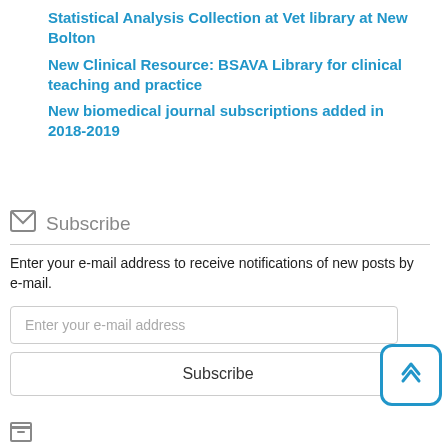Statistical Analysis Collection at Vet library at New Bolton
New Clinical Resource: BSAVA Library for clinical teaching and practice
New biomedical journal subscriptions added in 2018-2019
Subscribe
Enter your e-mail address to receive notifications of new posts by e-mail.
Enter your e-mail address
Subscribe